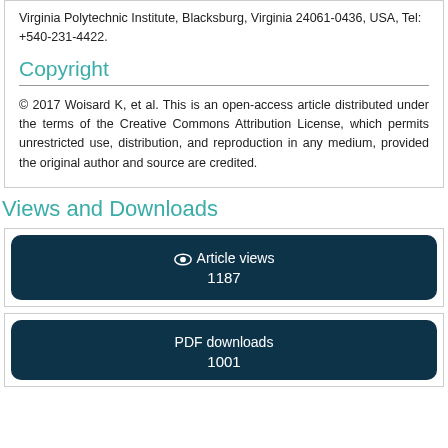Virginia Polytechnic Institute, Blacksburg, Virginia 24061-0436, USA, Tel: +540-231-4422.
Copyright
© 2017 Woisard K, et al. This is an open-access article distributed under the terms of the Creative Commons Attribution License, which permits unrestricted use, distribution, and reproduction in any medium, provided the original author and source are credited.
Views and Downloads
Article views
1187
PDF downloads
1001